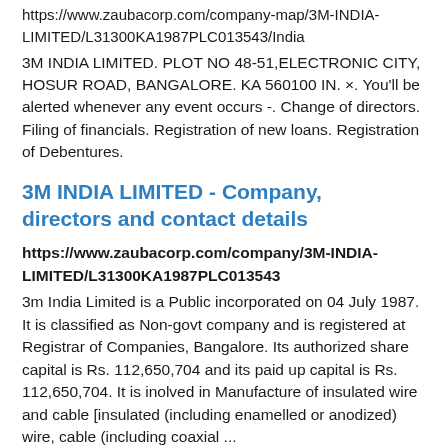https://www.zaubacorp.com/company-map/3M-INDIA-LIMITED/L31300KA1987PLC013543/India
3M INDIA LIMITED. PLOT NO 48-51,ELECTRONIC CITY, HOSUR ROAD, BANGALORE. KA 560100 IN. ×. You'll be alerted whenever any event occurs -. Change of directors. Filing of financials. Registration of new loans. Registration of Debentures.
3M INDIA LIMITED - Company, directors and contact details
https://www.zaubacorp.com/company/3M-INDIA-LIMITED/L31300KA1987PLC013543
3m India Limited is a Public incorporated on 04 July 1987. It is classified as Non-govt company and is registered at Registrar of Companies, Bangalore. Its authorized share capital is Rs. 112,650,704 and its paid up capital is Rs. 112,650,704. It is inolved in Manufacture of insulated wire and cable [insulated (including enamelled or anodized) wire, cable (including coaxial ...